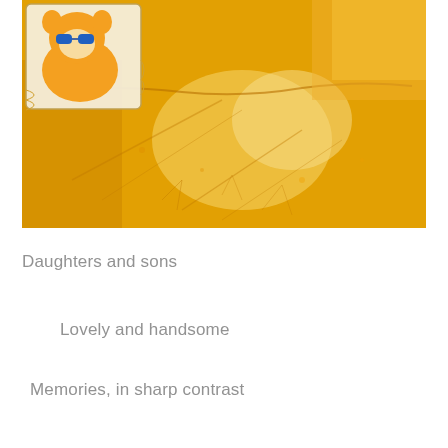[Figure (photo): Close-up photograph of yellow fluffy fabric/textile material with a cartoon character patch visible in the upper left corner showing a character with blue sunglasses. The fabric appears to be from a stuffed animal or similar plush toy, with varying shades of yellow and some lighter creamy areas.]
Daughters and sons
Lovely and handsome
Memories, in sharp contrast